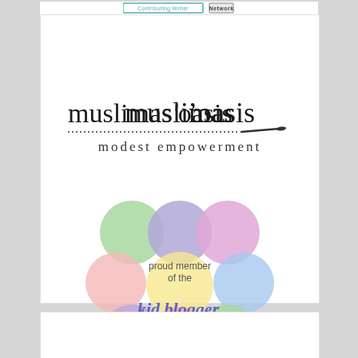[Figure (logo): Two navigation buttons at top: 'Contributing Writer' in teal border and 'Network' in gray button]
[Figure (logo): Muslimas' Oasis - modest empowerment logo with dotted line and pen/brush graphic]
[Figure (logo): Kid Blogger Network badge with colorful pastel circles and script text reading 'proud member of the kid blogger network']